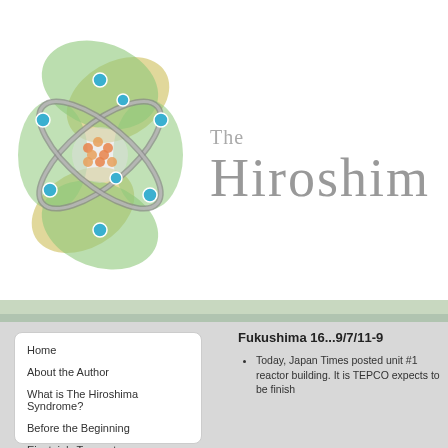[Figure (logo): Atomic/molecular orbital diagram logo with green and yellow leaf-shaped lobes, silver rings, blue electron dots, and orange nucleus center]
The Hiroshim
Fukushima 16...9/7/11-9
Home
About the Author
What is The Hiroshima Syndrome?
Before the Beginning
Einstein's Torment
Today, Japan Times posted unit #1 reactor building. It is TEPCO expects to be finish